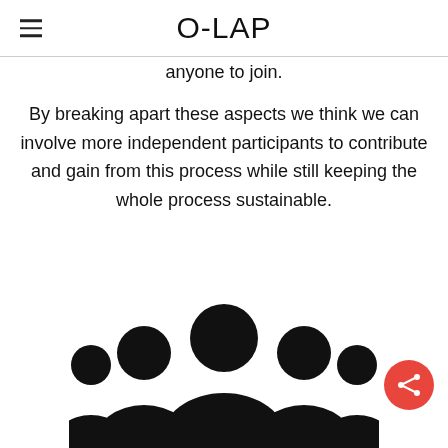O-LAP
anyone to join.

By breaking apart these aspects we think we can involve more independent participants to contribute and gain from this process while still keeping the whole process sustainable.
[Figure (illustration): Black silhouette icon of a group of people (audience/community) viewed from the front, with multiple overlapping figures]